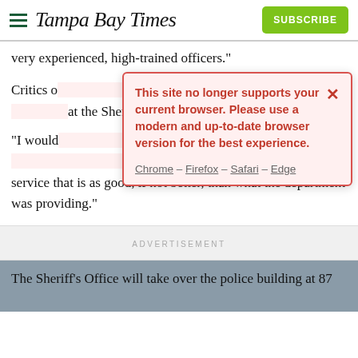Tampa Bay Times | SUBSCRIBE
very experienced, high-trained officers."
Critics of [the police department] ... that the police de[partment] ... at the Sheriff's [...] ce.
[Figure (screenshot): Modal dialog: 'This site no longer supports your current browser. Please use a modern and up-to-date browser version for the best experience.' with browser links: Chrome – Firefox – Safari – Edge and a close X button]
"I would [say] ... huis said. "I k[now] ... city and providing a service that is as good, if not better, than what the department was providing."
ADVERTISEMENT
The Sheriff's Office will take over the police building at 87